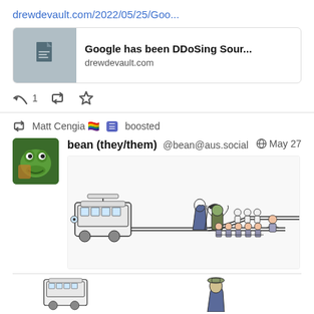drewdevault.com/2022/05/25/Goo...
[Figure (screenshot): Link preview card for 'Google has been DDoSing Sour...' from drewdevault.com with a document icon on a gray background]
[Figure (infographic): Action bar with reply (1), retweet, and star/favorite icons]
Matt Cengia 🏳️‍🌈 boosted
bean (they/them) @bean@aus.social   May 27
[Figure (illustration): Trolley problem meme: a tram on tracks splitting, with a robed figure and monster on one track and a tied-up person on another, and five tied-up people on the main track]
[Figure (illustration): Bottom partial view of another tram and a robed figure, partially cut off]